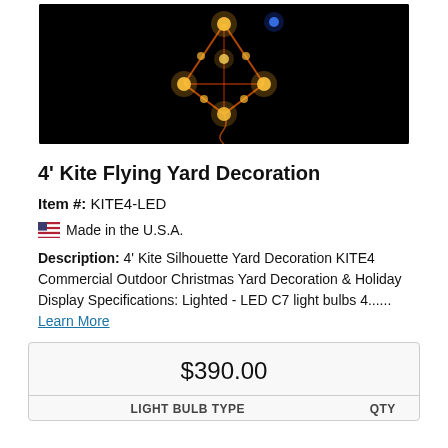[Figure (photo): Photo of a kite-shaped yard decoration with glowing LED lights against a black background, showing colorful light points on a kite silhouette frame.]
4' Kite Flying Yard Decoration
Item #: KITE4-LED
🏳 Made in the U.S.A.
Description: 4' Kite Silhouette Yard Decoration KITE4 Commercial Outdoor Christmas Yard Decoration & Holiday Display Specifications: Lighted - LED C7 light bulbs 4...... Learn More
|  | $390.00 |  |
| --- | --- | --- |
| LIGHT BULB TYPE |  | QTY |